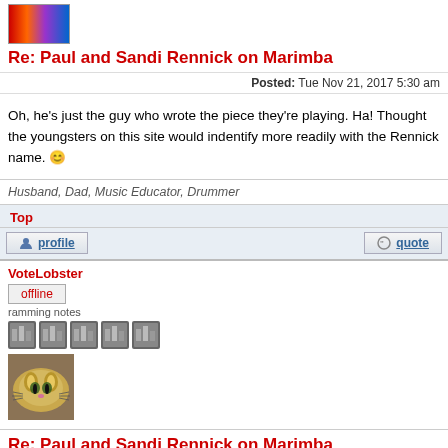[Figure (photo): User avatar image (colorful striped pattern)]
Re: Paul and Sandi Rennick on Marimba
Posted: Tue Nov 21, 2017 5:30 am
Oh, he's just the guy who wrote the piece they're playing. Ha! Thought the youngsters on this site would indentify more readily with the Rennick name. 😀
Husband, Dad, Music Educator, Drummer
Top
profile   quote
VoteLobster
offline
ramming notes
[Figure (illustration): Five rank/medal icons]
[Figure (photo): User avatar - cat face close up]
Re: Paul and Sandi Rennick on Marimba
Posted: Fri Nov 24, 2017 11:36 am